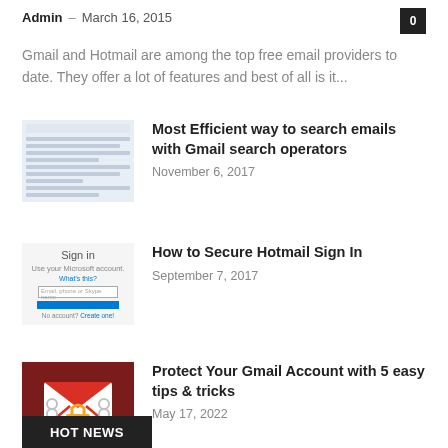Admin – March 16, 2015
Gmail and Hotmail are among the top free email providers to date. They offer a lot of features and best of all is it...
[Figure (screenshot): Gmail inbox screenshot thumbnail]
Most Efficient way to search emails with Gmail search operators
November 6, 2017
[Figure (screenshot): Hotmail/Microsoft Sign in page screenshot thumbnail]
How to Secure Hotmail Sign In
September 7, 2017
[Figure (illustration): Gmail account with lock icon on dark red background]
Protect Your Gmail Account with 5 easy tips & tricks
May 17, 2022
HOT NEWS